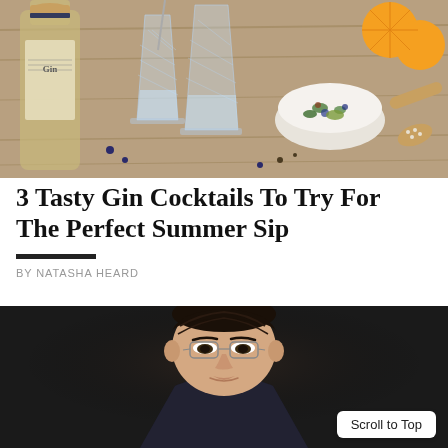[Figure (photo): Hero image: A gin bottle with cork, crystal cut glass tumblers, a white bowl of mixed botanicals/spices, orange slices, and a wooden spoon with seeds on a wooden surface.]
3 Tasty Gin Cocktails To Try For The Perfect Summer Sip
BY NATASHA HEARD
[Figure (photo): Headshot portrait of a man with dark hair, glasses, wearing a dark suit, photographed against a dark background.]